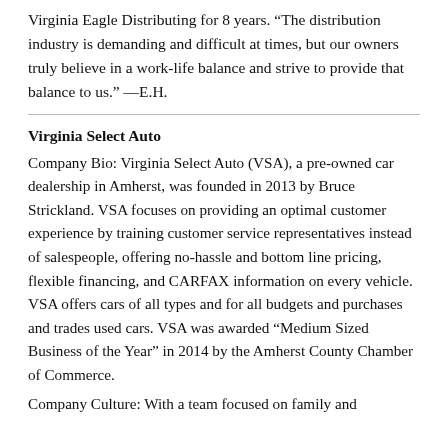Virginia Eagle Distributing for 8 years. “The distribution industry is demanding and difficult at times, but our owners truly believe in a work-life balance and strive to provide that balance to us.” —E.H.
Virginia Select Auto
Company Bio: Virginia Select Auto (VSA), a pre-owned car dealership in Amherst, was founded in 2013 by Bruce Strickland. VSA focuses on providing an optimal customer experience by training customer service representatives instead of salespeople, offering no-hassle and bottom line pricing, flexible financing, and CARFAX information on every vehicle. VSA offers cars of all types and for all budgets and purchases and trades used cars. VSA was awarded “Medium Sized Business of the Year” in 2014 by the Amherst County Chamber of Commerce.
Company Culture: With a team focused on family and